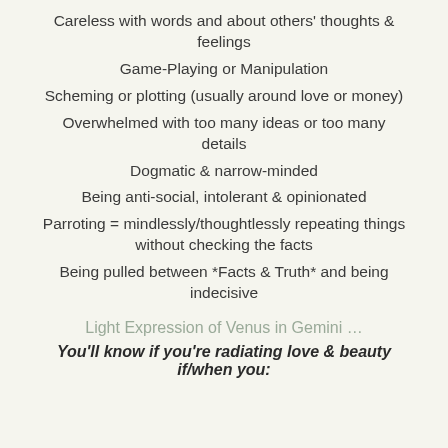Careless with words and about others' thoughts & feelings
Game-Playing or Manipulation
Scheming or plotting (usually around love or money)
Overwhelmed with too many ideas or too many details
Dogmatic & narrow-minded
Being anti-social, intolerant & opinionated
Parroting = mindlessly/thoughtlessly repeating things without checking the facts
Being pulled between *Facts & Truth* and being indecisive
Light Expression of Venus in Gemini …
You'll know if you're radiating love & beauty if/when you: